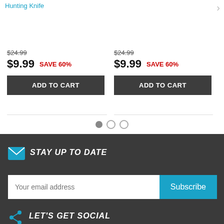Hunting Knife
$24.99 $9.99 SAVE 60%
$24.99 $9.99 SAVE 60%
ADD TO CART
ADD TO CART
STAY UP TO DATE
Your email address
Subscribe
LET'S GET SOCIAL